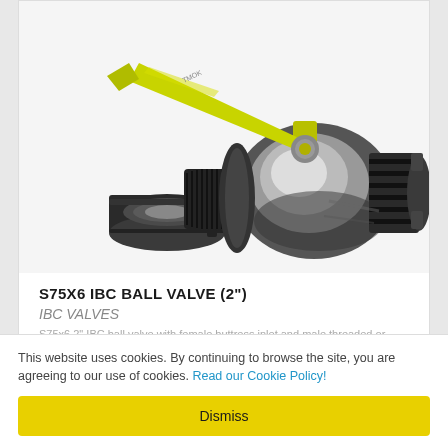[Figure (illustration): S75X6 IBC ball valve with yellow lever handle, black polypropylene body, threaded male inlet end, and a separate female threaded cap/adapter piece shown below-left.]
S75X6 IBC BALL VALVE (2")
IBC VALVES
S75x6 2" IBC ball valve with female buttress inlet and male threaded or...
This website uses cookies. By continuing to browse the site, you are agreeing to our use of cookies. Read our Cookie Policy!
Dismiss